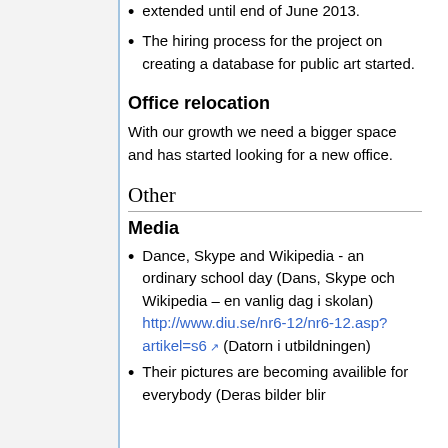extended until end of June 2013.
The hiring process for the project on creating a database for public art started.
Office relocation
With our growth we need a bigger space and has started looking for a new office.
Other
Media
Dance, Skype and Wikipedia - an ordinary school day (Dans, Skype och Wikipedia – en vanlig dag i skolan) http://www.diu.se/nr6-12/nr6-12.asp?artikel=s6 (Datorn i utbildningen)
Their pictures are becoming availible for everybody (Deras bilder blir